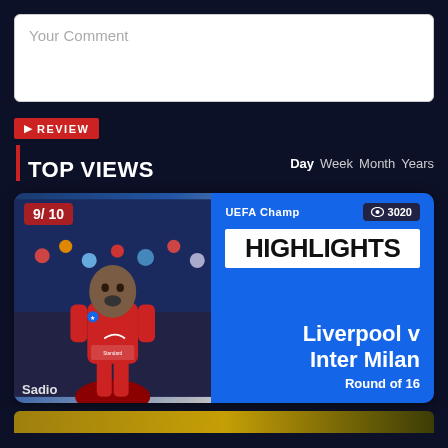Your Comment
REVIEW
TOP VIEWS
Day Week Month Years
[Figure (photo): Sports news card showing a Liverpool footballer in red kit with rating 9/10, UEFA Champions League highlights badge, views count 3020, match title Liverpool v Inter Milan, Round of 16]
UEFA Champ  3020
HIGHLIGHTS
Liverpool v Inter Milan
Round of 16